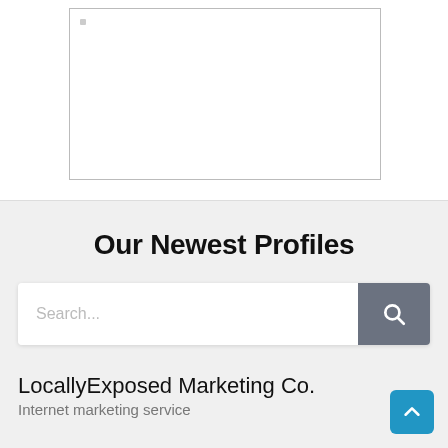[Figure (other): Empty white image placeholder box with a small gray dot in the top-left corner, bordered by a thin gray rectangle]
Our Newest Profiles
[Figure (screenshot): Search bar with placeholder text 'Search...' and a dark gray search button with magnifying glass icon]
LocallyExposed Marketing Co.
Internet marketing service